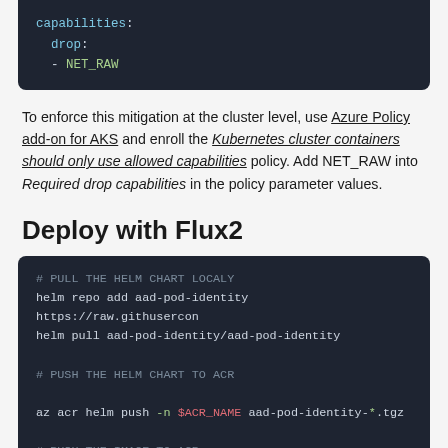[Figure (screenshot): Dark code block showing YAML with 'capabilities:', '  drop:', '  - NET_RAW' with syntax highlighting]
To enforce this mitigation at the cluster level, use Azure Policy add-on for AKS and enroll the Kubernetes cluster containers should only use allowed capabilities policy. Add NET_RAW into Required drop capabilities in the policy parameter values.
Deploy with Flux2
[Figure (screenshot): Dark code block with shell commands: comment PULL THE HELM CHART LOCALY, helm repo add aad-pod-identity https://raw.githusercon... , helm pull aad-pod-identity/aad-pod-identity, comment PUSH THE HELM CHART TO ACR, az acr helm push -n $ACR_NAME aad-pod-identity-*.tgz, comment PUSH THE IMAGE TO ACR]